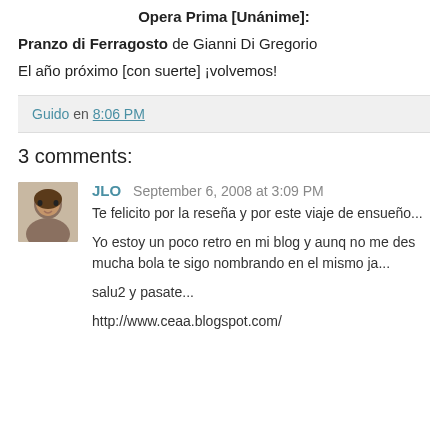Opera Prima [Unánime]:
Pranzo di Ferragosto de Gianni Di Gregorio
El año próximo [con suerte] ¡volvemos!
Guido en 8:06 PM
3 comments:
[Figure (photo): Small avatar photo of commenter JLO, a person with dark hair]
JLO September 6, 2008 at 3:09 PM
Te felicito por la reseña y por este viaje de ensueño...

Yo estoy un poco retro en mi blog y aunq no me des mucha bola te sigo nombrando en el mismo ja...

salu2 y pasate...

http://www.ceaa.blogspot.com/